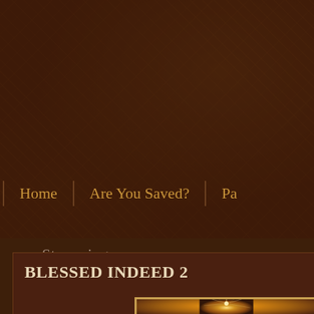Streamglobe De
Streaming the Globe with the Gospel
Home
Are You Saved?
Pa
Wednesday, October 3, 2018
BLESSED INDEED 2
[Figure (photo): Golden sunburst / light rays photo used as blog post header image]